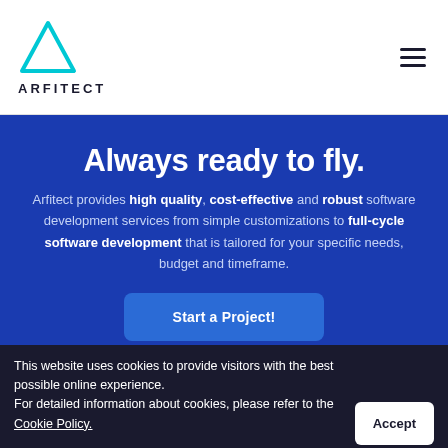[Figure (logo): Arfitect logo: cyan triangle outline above the text ARFITECT in bold dark letters]
Always ready to fly.
Arfitect provides high quality, cost-effective and robust software development services from simple customizations to full-cycle software development that is tailored for your specific needs, budget and timeframe.
Start a Project!
This website uses cookies to provide visitors with the best possible online experience.
For detailed information about cookies, please refer to the Cookie Policy.